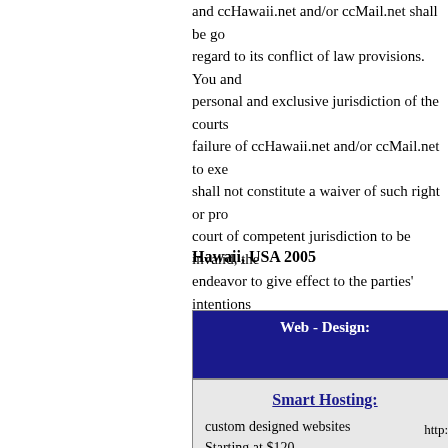and ccHawaii.net and/or ccMail.net shall be governed without regard to its conflict of law provisions. You and personal and exclusive jurisdiction of the courts failure of ccHawaii.net and/or ccMail.net to exe shall not constitute a waiver of such right or pro court of competent jurisdiction to be invalid, the endeavor to give effect to the parties' intentions provisions of the Terms remain in full force and law to the contrary, any claim or cause of action Terms must be filed within one (1) year after su barred.
Hawaii, USA 2005
| Web - Design: | Cgi - P |
| --- | --- |
| Smart Hosting:
custom designed websites
Starting at $120

click here to request info | Sma
custom scri
on request f

click here to |
http: